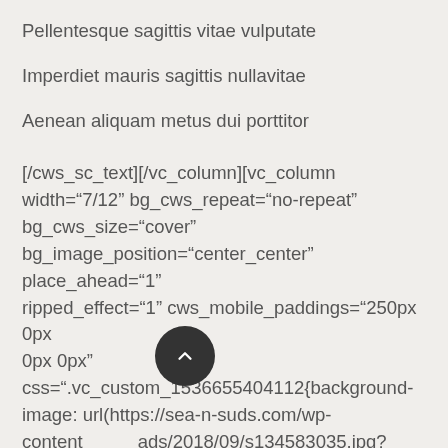Pellentesque sagittis vitae vulputate
Imperdiet mauris sagittis nullavitae
Aenean aliquam metus dui porttitor
[/cws_sc_text][/vc_column][vc_column width="7/12" bg_cws_repeat="no-repeat" bg_cws_size="cover" bg_image_position="center_center" place_ahead="1" ripped_effect="1" cws_mobile_paddings="250px 0px 0px 0px" css=".vc_custom_1536655404112{background-image: url(https://sea-n-suds.com/wp-content/uploads/2018/09/s134583035.jpg?id=191) !important;}][/vc_column][/vc_row][vc_row full_width="stretch_row" css_animation="slideInUp"